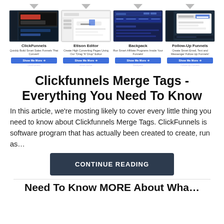[Figure (screenshot): Four product cards showing ClickFunnels, Etison Editor, Backpack, and Follow-Up Funnels with screenshots, descriptions, and 'Show Me More' buttons]
Clickfunnels Merge Tags - Everything You Need To Know
In this article, we're mosting likely to cover every little thing you need to know about Clickfunnels Merge Tags. ClickFunnels is software program that has actually been created to create, run as…
CONTINUE READING
Need To Know MORE About Wha…